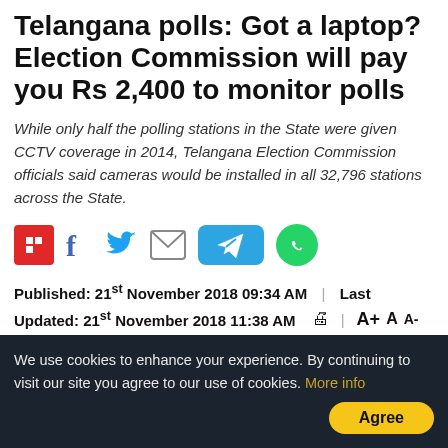Telangana polls: Got a laptop? Election Commission will pay you Rs 2,400 to monitor polls
While only half the polling stations in the State were given CCTV coverage in 2014, Telangana Election Commission officials said cameras would be installed in all 32,796 stations across the State.
[Figure (infographic): Social sharing icons: Flipboard (red), Facebook (blue), Twitter (blue bird), Email (envelope), Telegram (blue pill button), WhatsApp (green circle)]
Published: 21st November 2018 09:34 AM  |  Last Updated: 21st November 2018 11:38 AM  🖨 | A+ A  A-
[Figure (photo): Person using laptop and smartphone on a desk, with browser windows visible on screen]
We use cookies to enhance your experience. By continuing to visit our site you agree to our use of cookies. More info